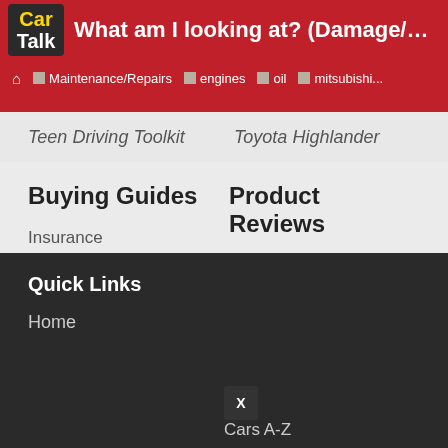What am I looking at? (Damage/Maintenance... | Maintenance/Repairs | engines | oil | mitsubishi...
Teen Driving Toolkit
Toyota Highlander
Buying Guides
Product Reviews
Insurance
Endurance Warranty
Drivers Ed
Michelin Tires
Extended Warranties
AmeriFreight Shipping
Car Shipping
Bad Car Jokes
Tires
Insurance Discounts
Quick Links
Home | Cars A-Z